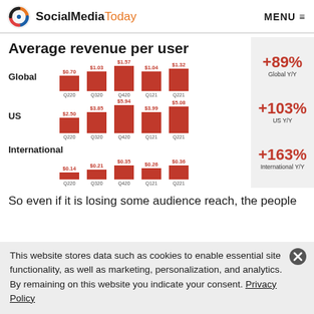SocialMediaToday | MENU
Average revenue per user
[Figure (bar-chart): Average revenue per user - Global]
[Figure (bar-chart): Average revenue per user - US]
[Figure (bar-chart): Average revenue per user - International]
+89% Global Y/Y
+103% US Y/Y
+163% International Y/Y
So even if it is losing some audience reach, the people
This website stores data such as cookies to enable essential site functionality, as well as marketing, personalization, and analytics. By remaining on this website you indicate your consent. Privacy Policy